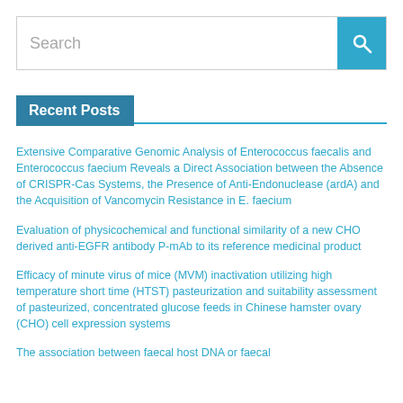Search
Recent Posts
Extensive Comparative Genomic Analysis of Enterococcus faecalis and Enterococcus faecium Reveals a Direct Association between the Absence of CRISPR-Cas Systems, the Presence of Anti-Endonuclease (ardA) and the Acquisition of Vancomycin Resistance in E. faecium
Evaluation of physicochemical and functional similarity of a new CHO derived anti-EGFR antibody P-mAb to its reference medicinal product
Efficacy of minute virus of mice (MVM) inactivation utilizing high temperature short time (HTST) pasteurization and suitability assessment of pasteurized, concentrated glucose feeds in Chinese hamster ovary (CHO) cell expression systems
The association between faecal host DNA or faecal